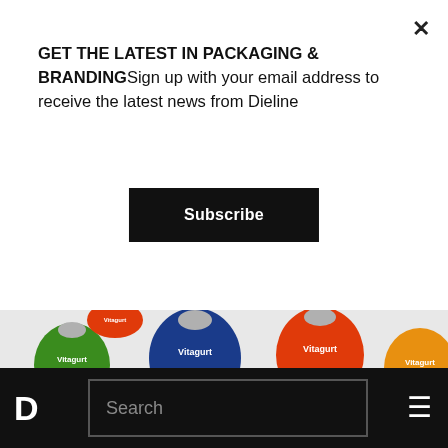GET THE LATEST IN PACKAGING & BRANDINGSign up with your email address to receive the latest news from Dieline
Subscribe
[Figure (photo): Multiple Vitagurt yogurt drink bottles in different colors (blue, orange, green, yellow) with Cyrillic text labels indicating flavors: ЧЕРНИКА (blueberry), ОБЛЕПИХА (sea buckthorn), ЯБЛОКО КОРИЦА (apple cinnamon), ИМБИРЬ ЛИМОН (ginger lemon). Silver foil caps on small glass bottles arranged on a white surface.]
D  Search  ☰